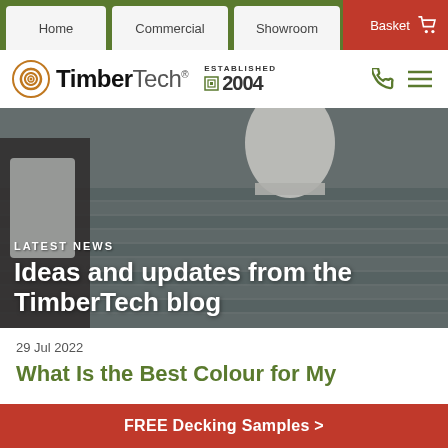Home | Commercial | Showroom | Basket
[Figure (logo): TimberTech logo with spiral icon and 'Established 2004' badge, phone and menu icons]
[Figure (photo): Hero image showing grey composite decking boards with outdoor furniture including a white planter and cushioned chair. Text overlay: LATEST NEWS - Ideas and updates from the TimberTech blog]
29 Jul 2022
What Is the Best Colour for My
FREE Decking Samples >